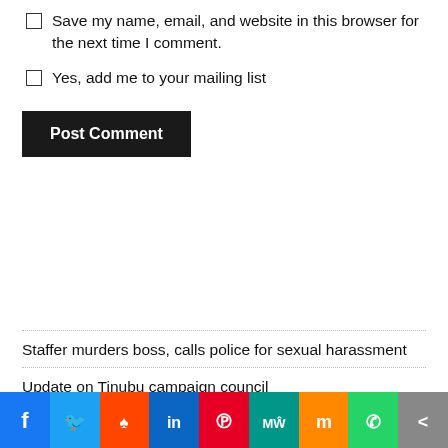Save my name, email, and website in this browser for the next time I comment.
Yes, add me to your mailing list
Post Comment
Staffer murders boss, calls police for sexual harassment
Update on Tinubu campaign council
US understudies Nigeria's capacity for gobal health security
Atiku, Wike's peace meeting ends in deadlock
[Figure (infographic): Social sharing bar with icons: Facebook (blue), Twitter (light blue), Reddit (orange-red), LinkedIn (dark blue), Pinterest (red), MeWe (teal), Mix (orange), WhatsApp (green), Share (grey)]